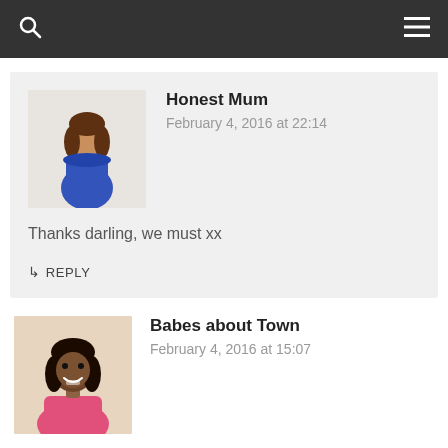Search | Menu
Honest Mum
February 4, 2016 at 22:14
Thanks darling, we must xx
↳ REPLY
Babes about Town
February 4, 2016 at 15:07
These are pretty much the things I get up to when I need self-care so feeling rather smug (except for the part of actually scheduling the time for it). It's a big promise to myself for 2016 so thanks for the nudge. Love that you're getting the paints out again, free your creativity lady, all of it! And you ended with a quote by one of my